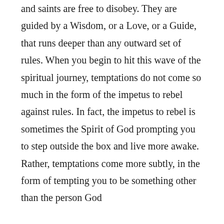and saints are free to disobey. They are guided by a Wisdom, or a Love, or a Guide, that runs deeper than any outward set of rules. When you begin to hit this wave of the spiritual journey, temptations do not come so much in the form of the impetus to rebel against rules. In fact, the impetus to rebel is sometimes the Spirit of God prompting you to step outside the box and live more awake. Rather, temptations come more subtly, in the form of tempting you to be something other than the person God